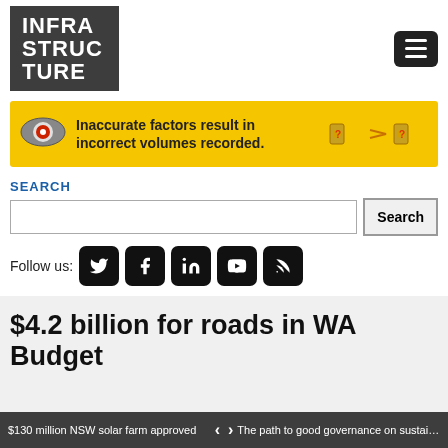[Figure (logo): Infrastructure magazine logo - white text on dark grey background]
[Figure (infographic): Yellow advertisement banner: 'Inaccurate factors result in incorrect volumes recorded.' with icons]
SEARCH
Follow us:
$4.2 billion for roads in WA Budget
Infrastructure Journalist
May 14, 2019
$130 million NSW solar farm approved  <  >  The path to good governance on sustain...